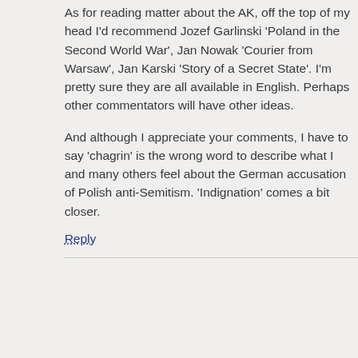As for reading matter about the AK, off the top of my head I'd recommend Jozef Garlinski 'Poland in the Second World War', Jan Nowak 'Courier from Warsaw', Jan Karski 'Story of a Secret State'. I'm pretty sure they are all available in English. Perhaps other commentators will have other ideas.
And although I appreciate your comments, I have to say 'chagrin' is the wrong word to describe what I and many others feel about the German accusation of Polish anti-Semitism. 'Indignation' comes a bit closer.
Reply